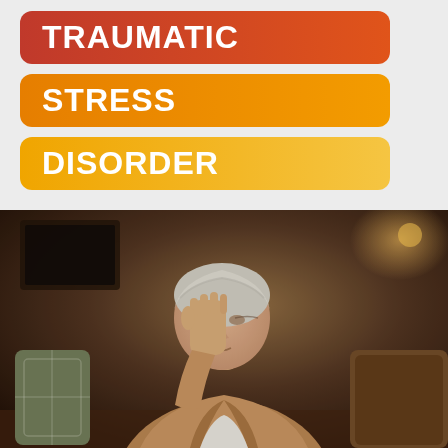[Figure (infographic): Three colored rounded rectangle badges stacked vertically reading 'TRAUMATIC' (dark red-orange), 'STRESS' (orange), and 'DISORDER' (light orange/yellow) in white bold text on a light gray background]
[Figure (photo): Photograph of an older woman with short white/silver hair sitting on a sofa, leaning forward with her hand raised to her forehead in a stressed or distressed pose, wearing a beige cardigan over a white shirt. Warm dim indoor lighting with bokeh background.]